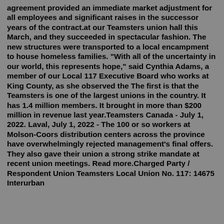agreement provided an immediate market adjustment for all employees and significant raises in the successor years of the contract.at our Teamsters union hall this March, and they succeeded in spectacular fashion. The new structures were transported to a local encampment to house homeless families. "With all of the uncertainty in our world, this represents hope," said Cynthia Adams, a member of our Local 117 Executive Board who works at King County, as she observed the The first is that the Teamsters is one of the largest unions in the country. It has 1.4 million members. It brought in more than $200 million in revenue last year.Teamsters Canada - July 1, 2022. Laval, July 1, 2022 - The 100 or so workers at Molson-Coors distribution centers across the province have overwhelmingly rejected management's final offers. They also gave their union a strong strike mandate at recent union meetings. Read more.Charged Party / Respondent Union Teamsters Local Union No. 117: 14675 Interurban